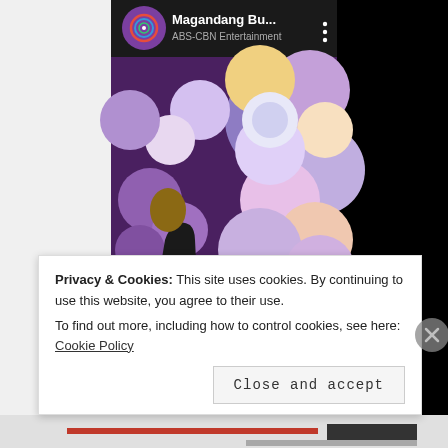[Figure (screenshot): YouTube embedded video player showing ABS-CBN Entertainment channel with title 'Magandang Bu...' and a man singing into a microphone on stage with a colorful flower backdrop. Red YouTube play button overlay visible.]
Privacy & Cookies: This site uses cookies. By continuing to use this website, you agree to their use.
To find out more, including how to control cookies, see here: Cookie Policy
Close and accept